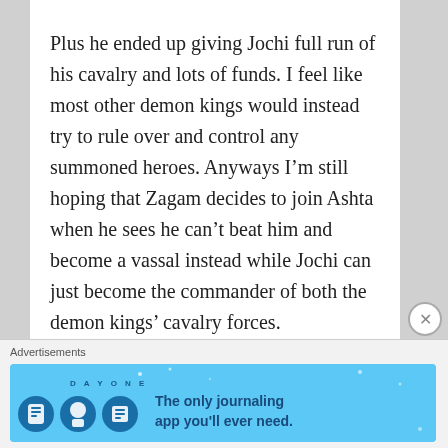Plus he ended up giving Jochi full run of his cavalry and lots of funds. I feel like most other demon kings would instead try to rule over and control any summoned heroes. Anyways I'm still hoping that Zagam decides to join Ashta when he sees he can't beat him and become a vassal instead while Jochi can just become the commander of both the demon kings' cavalry forces.
Loading...
Advertisements